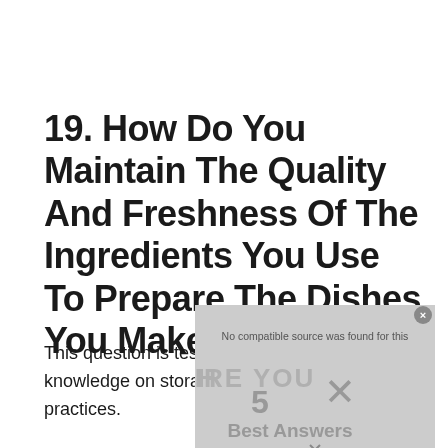19. How Do You Maintain The Quality And Freshness Of The Ingredients You Use To Prepare The Dishes You Make?
This question is testing the knowledge on storage best practices.
[Figure (other): Advertisement overlay showing 'No compatible source was found for this' message with 'HIRE YOU' text and '5 Best Answers' partially visible, with an X close button]